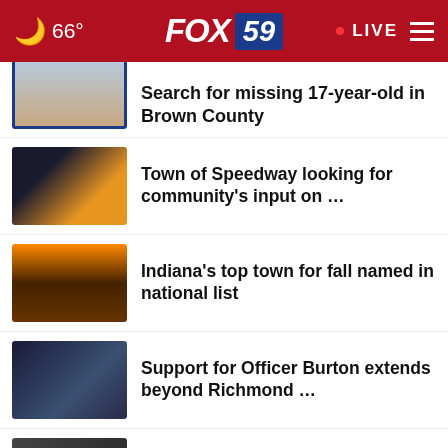66° FOX 59 LIVE
Search for missing 17-year-old in Brown County
Town of Speedway looking for community's input on …
Indiana's top town for fall named in national list
Support for Officer Burton extends beyond Richmond …
ISU Sycamores opens its season with heavy hearts
Biden delivers prime-time 'Soul of the Nation' speech